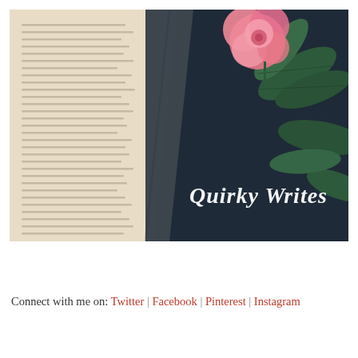[Figure (photo): A flatlay photo showing an open book with visible text pages on the left side, a dark navy/charcoal surface in the middle-right area, green leaves, and a pink rose in the upper right. The text 'Quirky Writes' is overlaid in white italic script in the lower-center area of the image.]
Connect with me on: Twitter | Facebook | Pinterest | Instagram